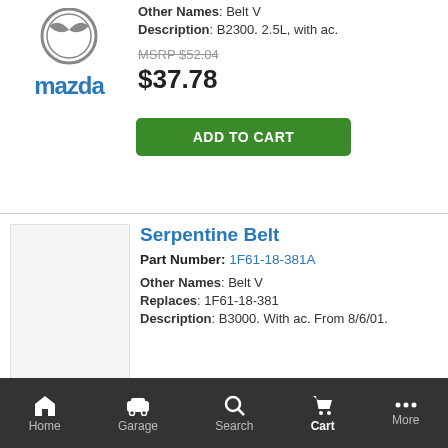[Figure (logo): Mazda logo with circular emblem and blue MAZDA text below]
Other Names: Belt V
Description: B2300. 2.5L, with ac.
MSRP $52.04 (strikethrough)
$37.78
ADD TO CART
[Figure (photo): White/blank square product image placeholder]
Serpentine Belt
Part Number: 1F61-18-381A
Other Names: Belt V
Replaces: 1F61-18-381
Description: B3000. With ac. From 8/6/01.
MSRP $41.01 (strikethrough)
$29.77
ADD TO CART
Serpentine Belt
Home  Garage  Search  Cart  More